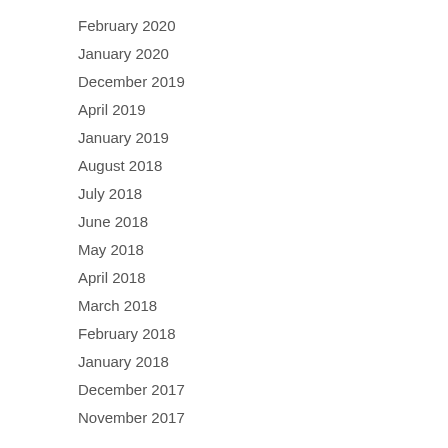February 2020
January 2020
December 2019
April 2019
January 2019
August 2018
July 2018
June 2018
May 2018
April 2018
March 2018
February 2018
January 2018
December 2017
November 2017